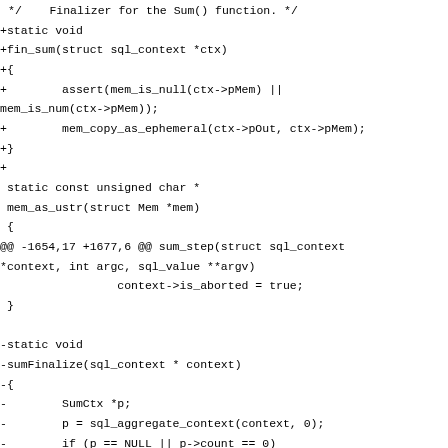Diff/patch code showing changes to SQL sum() finalizer and sumFinalize function in C source code